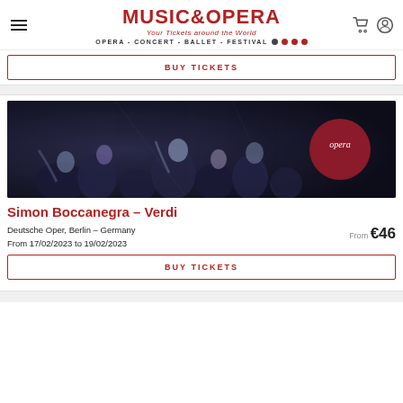MUSIC & OPERA — Your Tickets around the World — OPERA - CONCERT - BALLET - FESTIVAL
BUY TICKETS
[Figure (photo): Dark theatrical scene with multiple performers/faces visible, opera badge overlay on right]
Simon Boccanegra – Verdi
Deutsche Oper, Berlin – Germany
From 17/02/2023 to 19/02/2023
From €46
BUY TICKETS